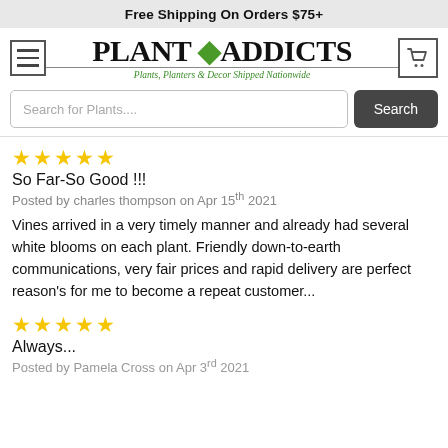Free Shipping On Orders $75+
[Figure (logo): Plant Addicts logo with hamburger menu icon on left and shopping cart icon on right. Logo reads 'PLANT ADDICTS' with a green leaf accent and tagline 'Plants, Planters & Decor Shipped Nationwide']
Search for Plants....
★★★★★
So Far-So Good !!!
Posted by charles thompson on Apr 15th 2021

Vines arrived in a very timely manner and already had several white blooms on each plant. Friendly down-to-earth communications, very fair prices and rapid delivery are perfect reason's for me to become a repeat customer...
★★★★★
Always...
Posted by Pamela Cross on Apr 3rd 2021